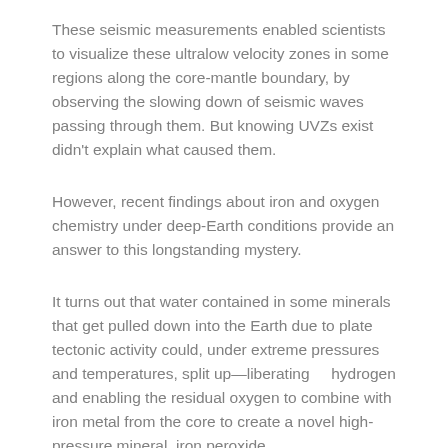These seismic measurements enabled scientists to visualize these ultralow velocity zones in some regions along the core-mantle boundary, by observing the slowing down of seismic waves passing through them. But knowing UVZs exist didn't explain what caused them.
However, recent findings about iron and oxygen chemistry under deep-Earth conditions provide an answer to this longstanding mystery.
It turns out that water contained in some minerals that get pulled down into the Earth due to plate tectonic activity could, under extreme pressures and temperatures, split up—liberating    hydrogen and enabling the residual oxygen to combine with iron metal from the core to create a novel high-pressure mineral, iron peroxide.